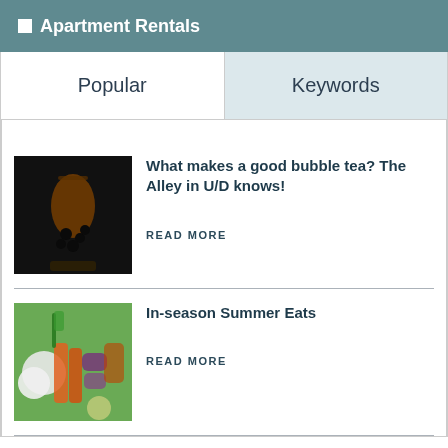Apartment Rentals
Popular
Keywords
[Figure (photo): A bubble tea drink in a clear cup with dark boba pearls on a wooden surface with dark background]
What makes a good bubble tea? The Alley in U/D knows!
READ MORE
[Figure (photo): Fresh summer vegetables including carrots, onions, and leafy greens with colorful produce]
In-season Summer Eats
READ MORE